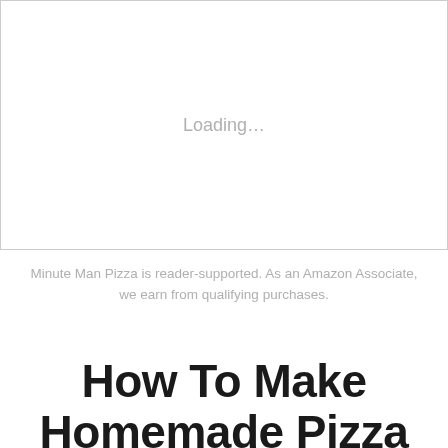[Figure (other): A white rectangular placeholder box with 'Loading…' text centered inside, indicating an image or media element that has not yet loaded.]
Minute Man Pizza is reader-supported. As an Amazon Associate, we earn from qualifying purchases.
How To Make Homemade Pizza